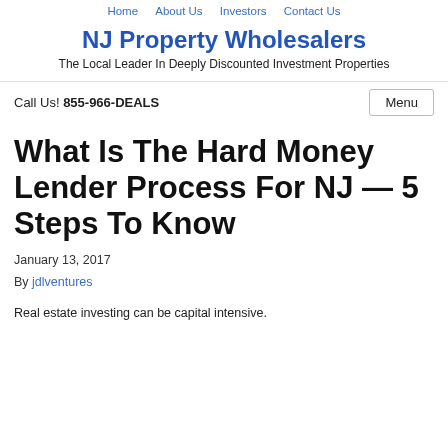Home   About Us   Investors   Contact Us
NJ Property Wholesalers
The Local Leader In Deeply Discounted Investment Properties
Call Us! 855-966-DEALS
What Is The Hard Money Lender Process For NJ — 5 Steps To Know
January 13, 2017
By jdlventures
Real estate investing can be capital intensive.